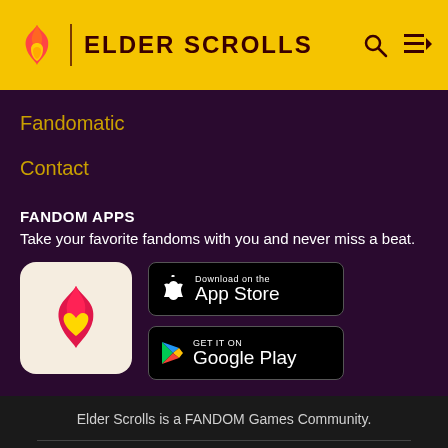ELDER SCROLLS
Fandomatic
Contact
FANDOM APPS
Take your favorite fandoms with you and never miss a beat.
[Figure (logo): Fandom app icon: pink/red flame with gold heart on light background]
[Figure (screenshot): Download on the App Store button (black)]
[Figure (screenshot): Get it on Google Play button (black)]
Elder Scrolls is a FANDOM Games Community.
VIEW FULL SITE